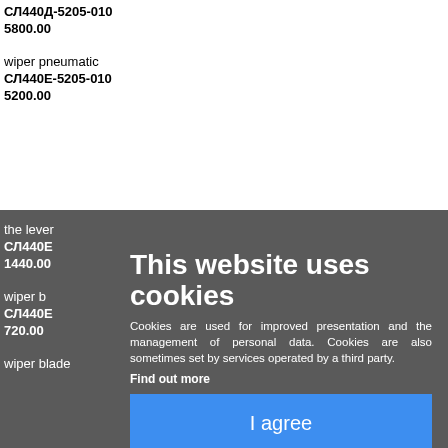СЛ440Д-5205-010
5800.00
wiper pneumatic
СЛ440Е-5205-010
5200.00
the lever
СЛ440Е
1440.00
wiper b
СЛ440Е
720.00
wiper blade
This website uses cookies

Cookies are used for improved presentation and the management of personal data. Cookies are also sometimes set by services operated by a third party.

Find out more

I agree